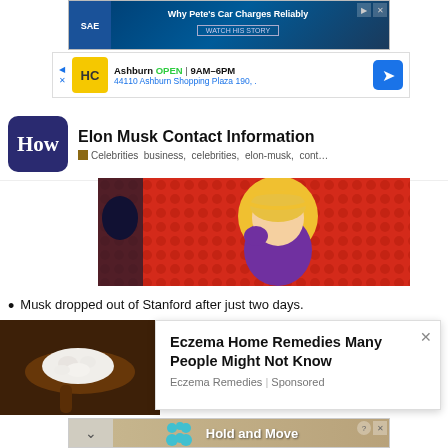[Figure (screenshot): SAE advertisement banner with blue background and 'Why Pete's Car Charges Reliably' text and 'Watch His Story' button]
[Figure (screenshot): Ashburn local business ad showing HC logo, OPEN 9AM-6PM, address 44110 Ashburn Shopping Plaza 190, with navigation arrow]
Elon Musk Contact Information
Celebrities  business, celebrities, elon-musk, cont...
[Figure (illustration): Cartoon illustration of a blonde person in purple outfit with halo on red dotted background]
Musk dropped out of Stanford after just two days.
[Figure (photo): Photo of white food (possibly cottage cheese) on a dark wooden spoon]
[Figure (screenshot): Popup advertisement: Eczema Home Remedies Many People Might Not Know - Eczema Remedies | Sponsored]
[Figure (screenshot): Bottom banner ad with teal figures and text 'Hold and Move']